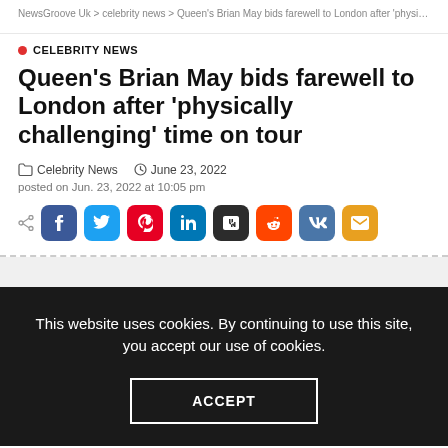NewsGroove Uk > celebrity news > Queen's Brian May bids farewell to London after 'physic...
CELEBRITY NEWS
Queen's Brian May bids farewell to London after 'physically challenging' time on tour
Celebrity News  June 23, 2022
posted on Jun. 23, 2022 at 10:05 pm
This website uses cookies. By continuing to use this site, you accept our use of cookies.
ACCEPT